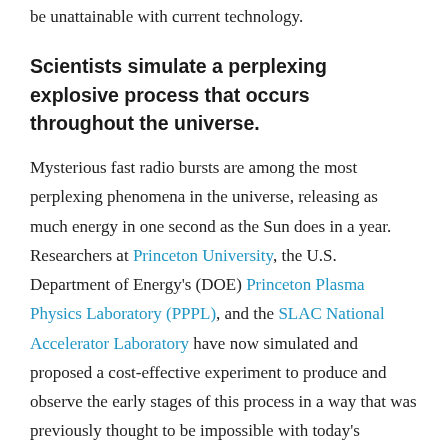be unattainable with current technology.
Scientists simulate a perplexing explosive process that occurs throughout the universe.
Mysterious fast radio bursts are among the most perplexing phenomena in the universe, releasing as much energy in one second as the Sun does in a year. Researchers at Princeton University, the U.S. Department of Energy's (DOE) Princeton Plasma Physics Laboratory (PPPL), and the SLAC National Accelerator Laboratory have now simulated and proposed a cost-effective experiment to produce and observe the early stages of this process in a way that was previously thought to be impossible with today's technology.